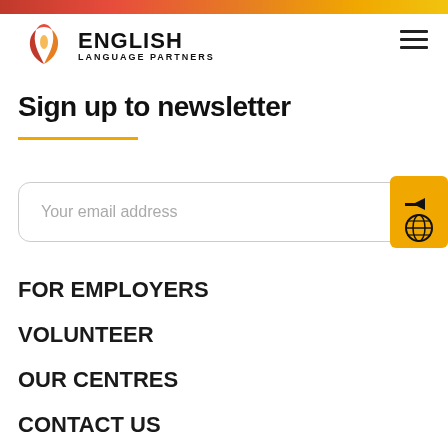[Figure (logo): English Language Partners logo with red/orange stylized leaf/flame graphic and text 'ENGLISH LANGUAGE PARTNERS']
Sign up to newsletter
Your email address
FOR EMPLOYERS
VOLUNTEER
OUR CENTRES
CONTACT US
WORK FOR US